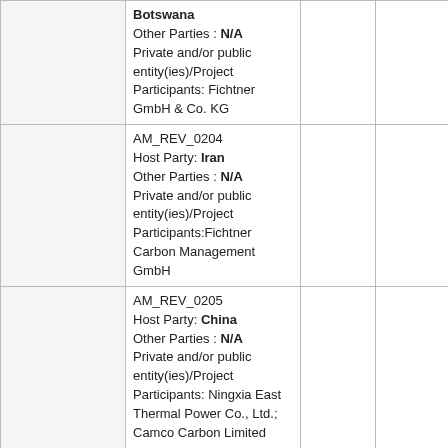|  | Project / Parties |  |  |  |
| --- | --- | --- | --- | --- |
|  | Botswana
Other Parties : N/A
Private and/or public entity(ies)/Project Participants: Fichtner GmbH & Co. KG |  |  |  |
|  | AM_REV_0204
Host Party: Iran
Other Parties : N/A
Private and/or public entity(ies)/Project Participants:Fichtner Carbon Management GmbH |  |  |  |
|  | AM_REV_0205
Host Party: China
Other Parties : N/A
Private and/or public entity(ies)/Project Participants: Ningxia East Thermal Power Co., Ltd.; Camco Carbon Limited |  |  |  |
|  | AM_REV_0207
Host Party: China
Other Parties : N/A
Private and/or public entity(ies)/Project Participants: Enel |  |  |  |